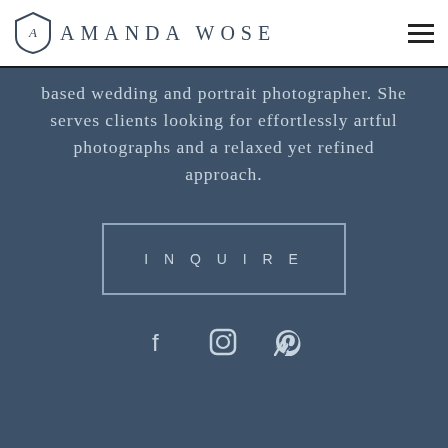Amanda Wose
based wedding and portrait photographer. She serves clients looking for effortlessly artful photographs and a relaxed yet refined approach.
INQUIRE
[Figure (illustration): Social media icons: Facebook, Instagram, Pinterest]